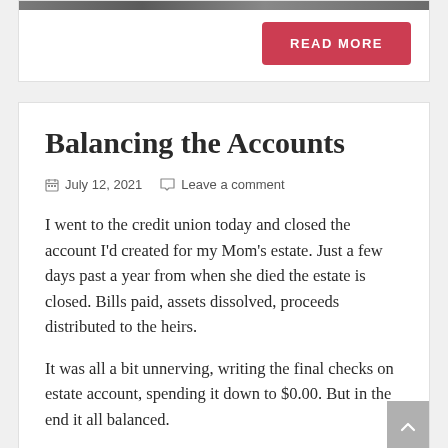[Figure (photo): Top portion of a card showing a cropped photo (dark/grey image strip visible at top)]
READ MORE
Balancing the Accounts
July 12, 2021   Leave a comment
I went to the credit union today and closed the account I'd created for my Mom's estate. Just a few days past a year from when she died the estate is closed. Bills paid, assets dissolved, proceeds distributed to the heirs.
It was all a bit unnerving, writing the final checks on estate account, spending it down to $0.00. But in the end it all balanced.